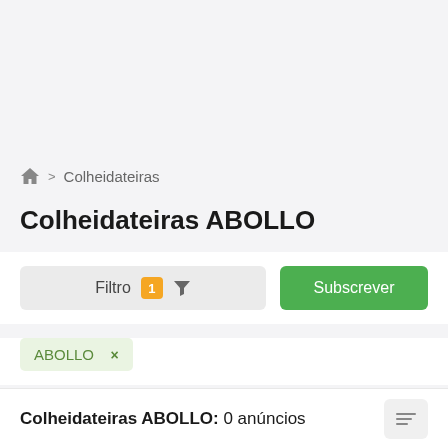🏠 > Colheidateiras
Colheidateiras ABOLLO
Filtro 1 [filter icon]
Subscrever
ABOLLO ×
Colheidateiras ABOLLO: 0 anúncios